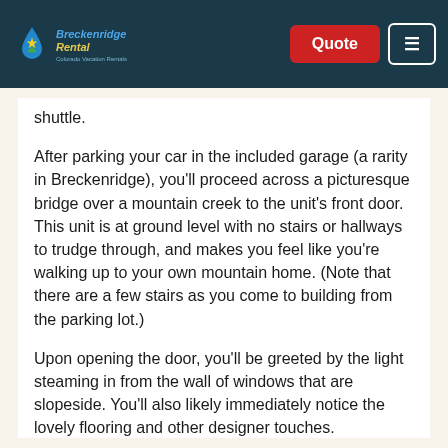Breckenridge Rental | Quote | Menu
shuttle.
After parking your car in the included garage (a rarity in Breckenridge), you'll proceed across a picturesque bridge over a mountain creek to the unit's front door. This unit is at ground level with no stairs or hallways to trudge through, and makes you feel like you're walking up to your own mountain home. (Note that there are a few stairs as you come to building from the parking lot.)
Upon opening the door, you'll be greeted by the light steaming in from the wall of windows that are slopeside. You'll also likely immediately notice the lovely flooring and other designer touches.